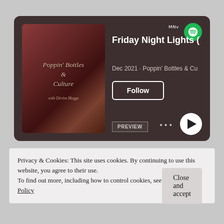[Figure (screenshot): Spotify podcast embed card for 'Friday Night Lights' episode of Poppin' Bottles & Culture podcast. Shows podcast artwork on left, episode title, date 'Dec 2021 · Poppin' Bottles & Cu', Follow button, PREVIEW button, ellipsis menu, and play button.]
Privacy & Cookies: This site uses cookies. By continuing to use this website, you agree to their use.
To find out more, including how to control cookies, see here: Cookie Policy
Close and accept